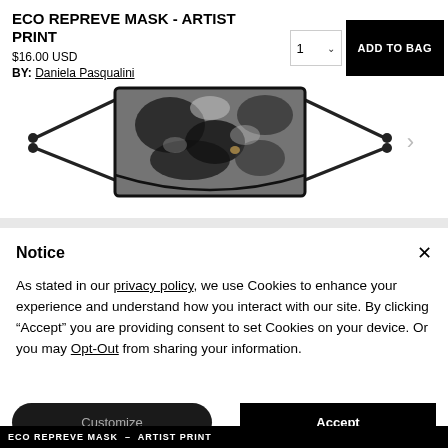ECO REPREVE MASK - ARTIST PRINT
$16.00 USD
BY: Daniela Pasqualini
[Figure (photo): Eco Repreve face mask with artist print design, dark abstract pattern, shown flat with ear straps extended. Navigation arrows visible on right side.]
Notice
As stated in our privacy policy, we use Cookies to enhance your experience and understand how you interact with our site. By clicking "Accept" you are providing consent to set Cookies on your device. Or you may Opt-Out from sharing your information.
Customize
Accept
ECO REPREVE MASK - ARTIST PRINT